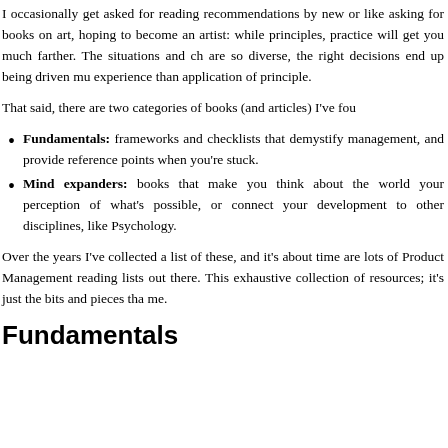I occasionally get asked for reading recommendations by new or like asking for books on art, hoping to become an artist: while principles, practice will get you much farther. The situations and ch are so diverse, the right decisions end up being driven mu experience than application of principle.
That said, there are two categories of books (and articles) I've fou
Fundamentals: frameworks and checklists that demystify management, and provide reference points when you're stuck.
Mind expanders: books that make you think about the world your perception of what's possible, or connect your development to other disciplines, like Psychology.
Over the years I've collected a list of these, and it's about time are lots of Product Management reading lists out there. This exhaustive collection of resources; it's just the bits and pieces tha me.
Fundamentals